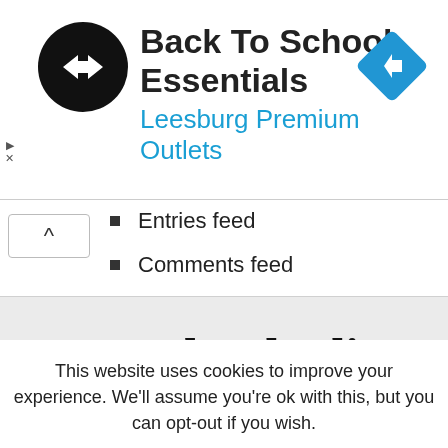[Figure (advertisement): Ad banner for Back To School Essentials at Leesburg Premium Outlets. Black circular logo with white double-arrow chevron symbol on left, bold black title text, blue subtitle text, blue diamond navigation icon on right, and play/close ad controls.]
Entries feed
Comments feed
WordPress.org
[Figure (logo): Eastlondonli brand logo in large serif bold font on light grey background]
This website uses cookies to improve your experience. We'll assume you're ok with this, but you can opt-out if you wish.
Accept   Read More